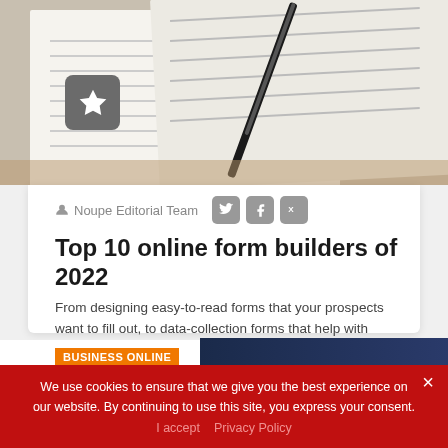[Figure (photo): Photo of paper forms/documents with a pen on a wooden surface, with a star badge icon overlay]
Noupe Editorial Team
Top 10 online form builders of 2022
From designing easy-to-read forms that your prospects want to fill out, to data-collection forms that help with webinar registration, reservations, and contact tracing, it's important ...
BUSINESS ONLINE
We use cookies to ensure that we give you the best experience on our website. By continuing to use this site, you express your consent.
I accept   Privacy Policy